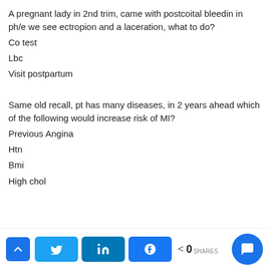A pregnant lady in 2nd trim, came with postcoital bleedin in ph/e we see ectropion and a laceration, what to do?
Co test
Lbc
Visit postpartum
Same old recall, pt has many diseases, in 2 years ahead which of the following would increase risk of MI?
Previous Angina
Htn
Bmi
High chol
0 SHARES